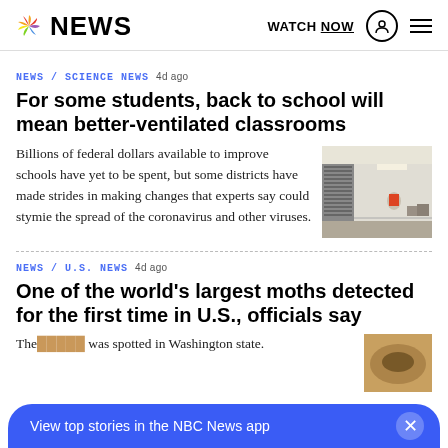NBC NEWS — WATCH NOW
NEWS / SCIENCE NEWS 4d ago
For some students, back to school will mean better-ventilated classrooms
Billions of federal dollars available to improve schools have yet to be spent, but some districts have made strides in making changes that experts say could stymie the spread of the coronavirus and other viruses.
[Figure (photo): Students in a classroom with HVAC equipment visible]
NEWS / U.S. NEWS 4d ago
One of the world's largest moths detected for the first time in U.S., officials say
The ... was spotted in Washington state.
View top stories in the NBC News app